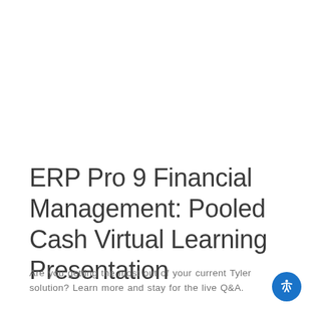ERP Pro 9 Financial Management: Pooled Cash Virtual Learning Presentation
Are you getting the most out of your current Tyler solution? Learn more and stay for the live Q&A.